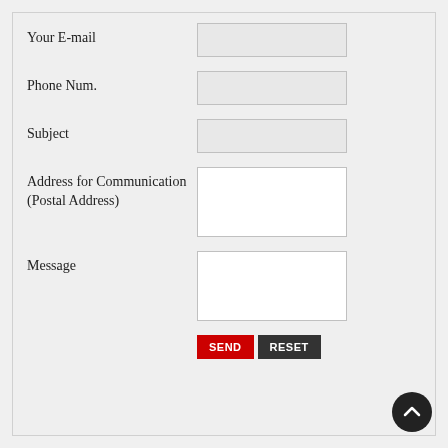Your E-mail
Phone Num.
Subject
Address for Communication (Postal Address)
Message
SEND
RESET